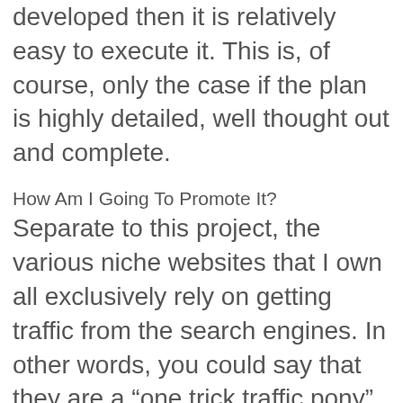developed then it is relatively easy to execute it. This is, of course, only the case if the plan is highly detailed, well thought out and complete.
How Am I Going To Promote It? Separate to this project, the various niche websites that I own all exclusively rely on getting traffic from the search engines. In other words, you could say that they are a “one trick traffic pony” of 100% Search Engine Optimisation (SEO)!
In contrast, our stock market product is being promoted via Joint Venture (JV) relationships and almost no SEO it is absolutely...